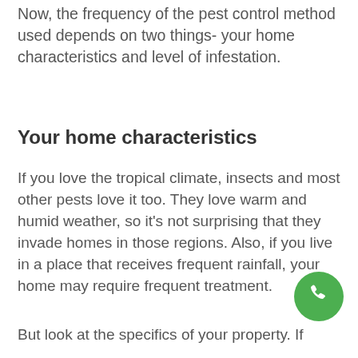Now, the frequency of the pest control method used depends on two things- your home characteristics and level of infestation.
Your home characteristics
If you love the tropical climate, insects and most other pests love it too. They love warm and humid weather, so it's not surprising that they invade homes in those regions. Also, if you live in a place that receives frequent rainfall, your home may require frequent treatment.
[Figure (illustration): Green circular phone/call button icon]
But look at the specifics of your property. If